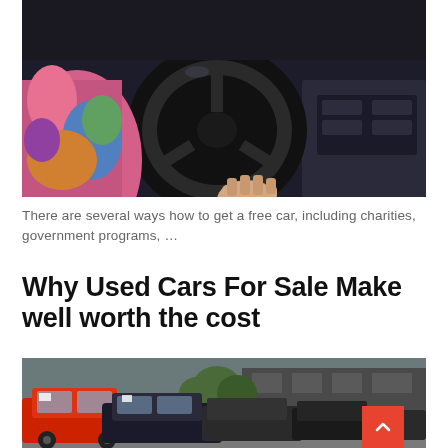[Figure (photo): Close-up of a person with a colorful scarf holding a car steering wheel, interior dashboard visible]
There are several ways how to get a free car, including charities, government programs, …
Why Used Cars For Sale Make well worth the cost
[Figure (photo): Outdoor used car lot with multiple cars parked, trees and a building visible in background]